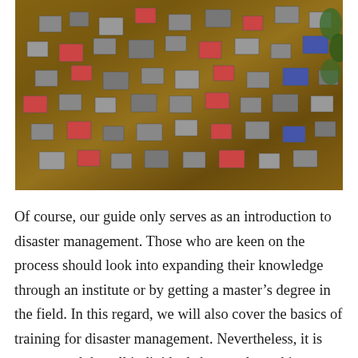[Figure (photo): Aerial photograph of a flooded settlement or urban area, showing numerous buildings and structures partially submerged in brown murky flood water, viewed from above.]
Of course, our guide only serves as an introduction to disaster management. Those who are keen on the process should look into expanding their knowledge through an institute or by getting a master's degree in the field. In this regard, we will also cover the basics of training for disaster management. Nevertheless, it is encouraged that all individuals have at least this